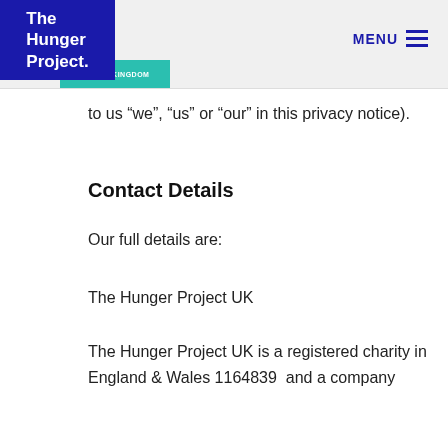The Hunger Project. UNITED KINGDOM | MENU
to us “we”, “us” or “our” in this privacy notice).
Contact Details
Our full details are:
The Hunger Project UK
The Hunger Project UK is a registered charity in England & Wales 1164839  and a company